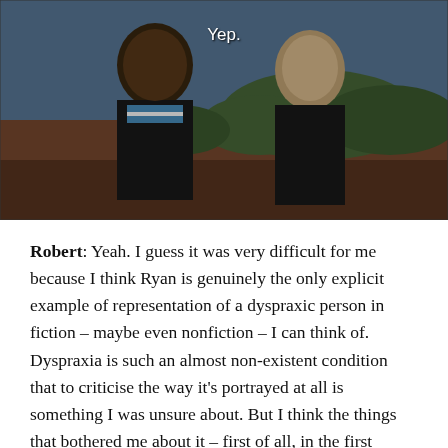[Figure (screenshot): A still from a TV show or film showing two young men outdoors. One man in a striped shirt and dark jacket faces right, the other in a dark jacket faces left. A subtitle reads 'Yep.' in white text at the top center. The background shows a hilly landscape with reddish earth and green trees.]
Robert: Yeah. I guess it was very difficult for me because I think Ryan is genuinely the only explicit example of representation of a dyspraxic person in fiction – maybe even nonfiction – I can think of. Dyspraxia is such an almost non-existent condition that to criticise the way it's portrayed at all is something I was unsure about. But I think the things that bothered me about it – first of all, in the first episode, Ryan's